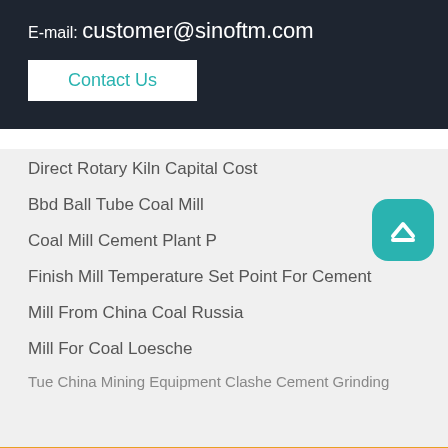E-mail: customer@sinoftm.com
Contact Us
Direct Rotary Kiln Capital Cost
Bbd Ball Tube Coal Mill
Coal Mill Cement Plant P
Finish Mill Temperature Set Point For Cement
Mill From China Coal Russia
Mill For Coal Loesche
Tue China Mining Equipment Clashe Cement Grinding
Send Message
Free Consultation